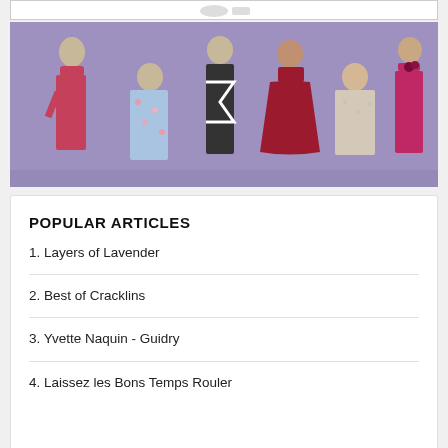[Figure (photo): Group photo of six women in formal/evening gowns posed in front of a purple/lavender background. Women are wearing red, pink, floral, black-and-white, and lace dresses.]
POPULAR ARTICLES
1. Layers of Lavender
2. Best of Cracklins
3. Yvette Naquin - Guidry
4. Laissez les Bons Temps Rouler